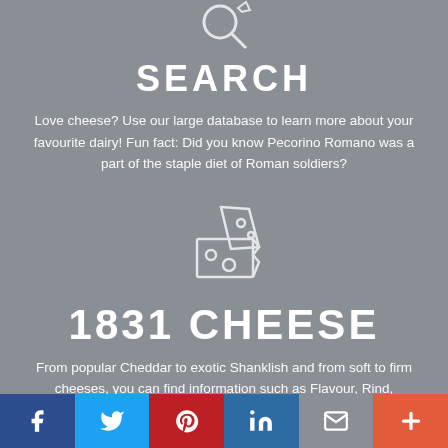[Figure (illustration): White outline magnifying glass icon on grey background]
SEARCH
Love cheese? Use our large database to learn more about your favourite dairy! Fun fact: Did you know Pecorino Romano was a part of the staple diet of Roman soldiers?
[Figure (illustration): White outline cheese wedge icon on grey background]
1831 CHEESE
From popular Cheddar to exotic Shanklish and from soft to firm cheeses, you can find information such as Flavour, Rind, Producers, Fat Content, Type and Country of Origin.
[Figure (infographic): Social media sharing bar with Facebook, Twitter, Pinterest, LinkedIn, Email, and More buttons]